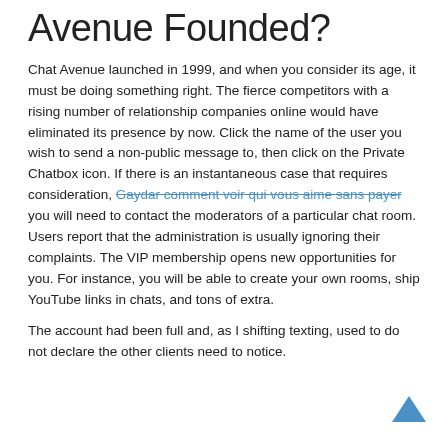Avenue Founded?
Chat Avenue launched in 1999, and when you consider its age, it must be doing something right. The fierce competitors with a rising number of relationship companies online would have eliminated its presence by now. Click the name of the user you wish to send a non-public message to, then click on the Private Chatbox icon. If there is an instantaneous case that requires consideration, Gaydar comment voir qui vous aime sans payer you will need to contact the moderators of a particular chat room. Users report that the administration is usually ignoring their complaints. The VIP membership opens new opportunities for you. For instance, you will be able to create your own rooms, ship YouTube links in chats, and tons of extra.
The account had been full and, as I shifting texting, used to do not declare the other clients need to notice.